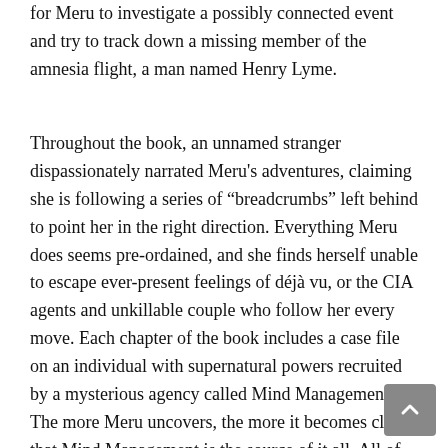for Meru to investigate a possibly connected event and try to track down a missing member of the amnesia flight, a man named Henry Lyme.
Throughout the book, an unnamed stranger dispassionately narrated Meru's adventures, claiming she is following a series of "breadcrumbs" left behind to point her in the right direction. Everything Meru does seems pre-ordained, and she finds herself unable to escape ever-present feelings of déjà vu, or the CIA agents and unkillable couple who follow her every move. Each chapter of the book includes a case file on an individual with supernatural powers recruited by a mysterious agency called Mind Management. The more Meru uncovers, the more it becomes clear that Mind Management is the source of it all. All of this